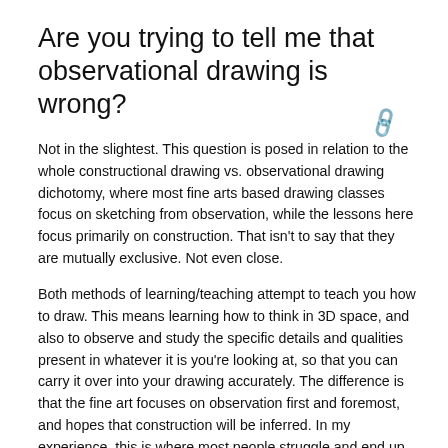Are you trying to tell me that observational drawing is wrong?
Not in the slightest. This question is posed in relation to the whole constructional drawing vs. observational drawing dichotomy, where most fine arts based drawing classes focus on sketching from observation, while the lessons here focus primarily on construction. That isn't to say that they are mutually exclusive. Not even close.
Both methods of learning/teaching attempt to teach you how to draw. This means learning how to think in 3D space, and also to observe and study the specific details and qualities present in whatever it is you're looking at, so that you can carry it over into your drawing accurately. The difference is that the fine art focuses on observation first and foremost, and hopes that construction will be inferred. In my experience, this is where most people struggle and end up feeling